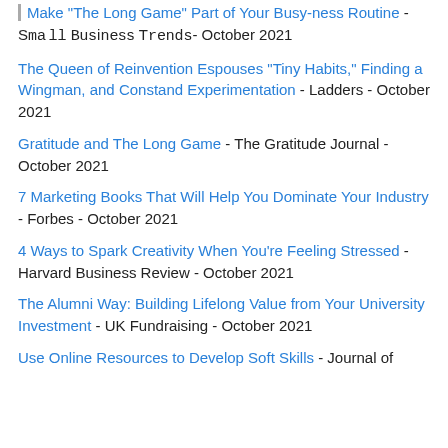Make "The Long Game" Part of Your Busy-ness Routine - Small Business Trends - October 2021
The Queen of Reinvention Espouses "Tiny Habits," Finding a Wingman, and Constand Experimentation - Ladders - October 2021
Gratitude and The Long Game - The Gratitude Journal - October 2021
7 Marketing Books That Will Help You Dominate Your Industry - Forbes - October 2021
4 Ways to Spark Creativity When You're Feeling Stressed - Harvard Business Review - October 2021
The Alumni Way: Building Lifelong Value from Your University Investment - UK Fundraising - October 2021
Use Online Resources to Develop Soft Skills - Journal of